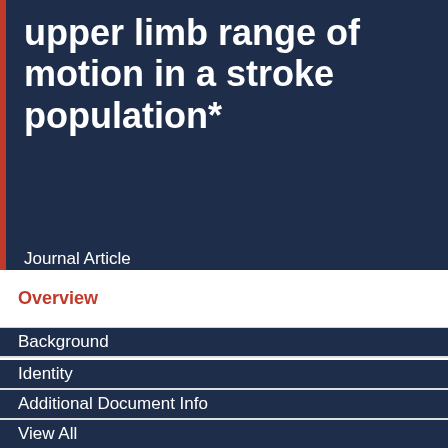upper limb range of motion in a stroke population*
Journal Article
Overview
Background
Identity
Additional Document Info
View All